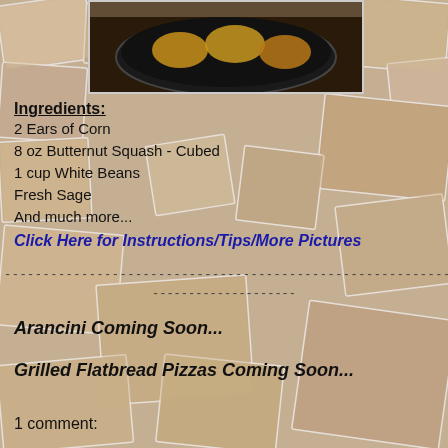[Figure (photo): Food photo showing what appears to be dumplings or similar items cooking in a dark cast iron pan, viewed from above]
Ingredients:
2 Ears of Corn
8 oz Butternut Squash - Cubed
1 cup White Beans
Fresh Sage
And much more...
Click Here for Instructions/Tips/More Pictures
--------------------------------------------------------------------------------
--------------------
Arancini Coming Soon...
Grilled Flatbread Pizzas Coming Soon...
1 comment: